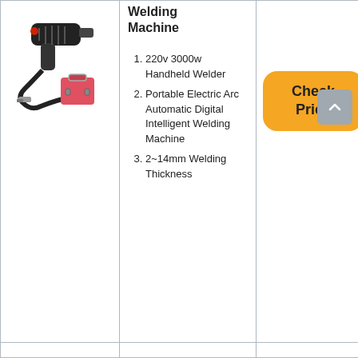[Figure (photo): Photo of a black handheld welding machine/gun with a red accessory bag and cables/clamps]
Welding Machine
220v 3000w Handheld Welder
Portable Electric Arc Automatic Digital Intelligent Welding Machine
2~14mm Welding Thickness
Check Price